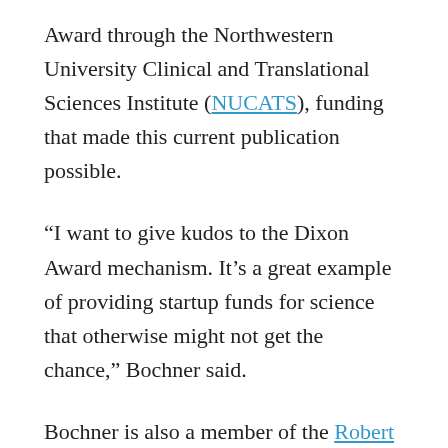Award through the Northwestern University Clinical and Translational Sciences Institute (NUCATS), funding that made this current publication possible.
“I want to give kudos to the Dixon Award mechanism. It’s a great example of providing startup funds for science that otherwise might not get the chance,” Bochner said.
Bochner is also a member of the Robert H. Lurie Comprehensive Cancer Center of Northwestern University.
The current study was funded by Acerta Pharma, the Ernest S. Bazley Foundation and the Northwestern